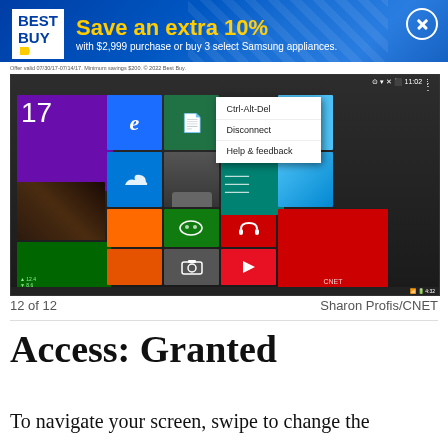[Figure (infographic): Best Buy advertisement banner: yellow 'Save an extra 10%' headline with subtext 'with $2,999 purchase or buy 3 select Samsung appliances.' on blue diagonal-striped background with Best Buy logo and close button]
Offer valid 07/30/17-07/14/17. Minimum savings $200. © 2022 Best Buy.
[Figure (screenshot): Screenshot of a Windows 8.1 Start Screen viewed through Chrome Remote Desktop on an Android device. Shows colorful live tiles (calendar showing 17, Internet Explorer, OneDrive, green tile with document, orange tiles, Xbox tile, red tile with headphones, camera, video player) with a context menu overlay showing options: Ctrl-Alt-Del, Disconnect, Help & feedback. Status bar visible at top showing time 11:02.]
12 of 12	Sharon Profis/CNET
Access: Granted
To navigate your screen, swipe to change the